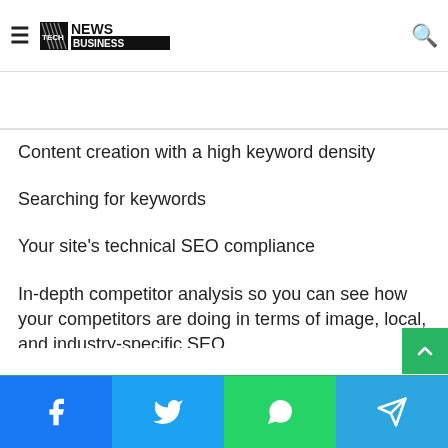Tech News Business - would provide you with all of these advantages and more.
Content creation with a high keyword density
Searching for keywords
Your site's technical SEO compliance
In-depth competitor analysis so you can see how your competitors are doing in terms of image, local, and industry-specific SEO.
Submissions to directories
Facebook | Twitter | WhatsApp | Telegram